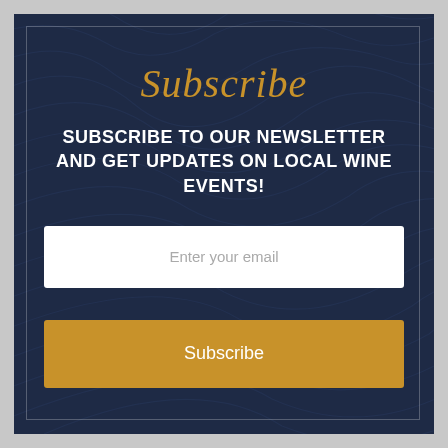Subscribe
SUBSCRIBE TO OUR NEWSLETTER AND GET UPDATES ON LOCAL WINE EVENTS!
[Figure (other): Email input field with placeholder text 'Enter your email']
[Figure (other): Subscribe button with golden/amber background]